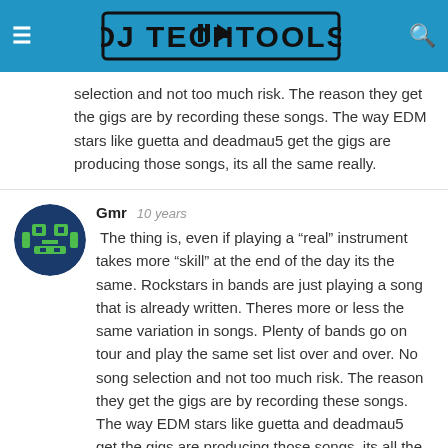DJ TechTools
selection and not too much risk. The reason they get the gigs are by recording these songs. The way EDM stars like guetta and deadmau5 get the gigs are producing those songs, its all the same really.
Gmr   10 years
The thing is, even if playing a “real” instrument takes more “skill” at the end of the day its the same. Rockstars in bands are just playing a song that is already written. Theres more or less the same variation in songs. Plenty of bands go on tour and play the same set list over and over. No song selection and not too much risk. The reason they get the gigs are by recording these songs. The way EDM stars like guetta and deadmau5 get the gigs are producing those songs, its all the same really.